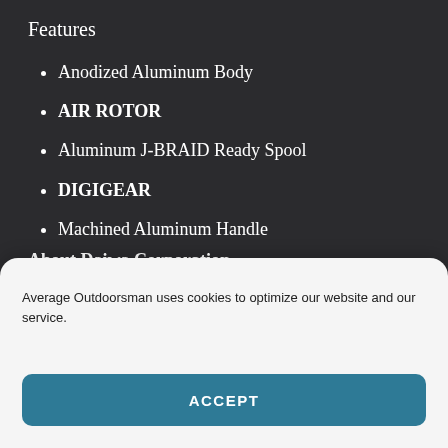Features
Anodized Aluminum Body
AIR ROTOR
Aluminum J-BRAID Ready Spool
DIGIGEAR
Machined Aluminum Handle
About Daiwa Corporation
Average Outdoorsman uses cookies to optimize our website and our service.
ACCEPT